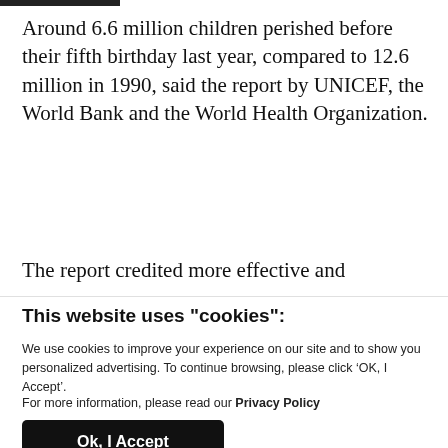Around 6.6 million children perished before their fifth birthday last year, compared to 12.6 million in 1990, said the report by UNICEF, the World Bank and the World Health Organization.
The report credited more effective and
This website uses "cookies":
We use cookies to improve your experience on our site and to show you personalized advertising. To continue browsing, please click ‘OK, I Accept’.
For more information, please read our Privacy Policy
Ok, I Accept